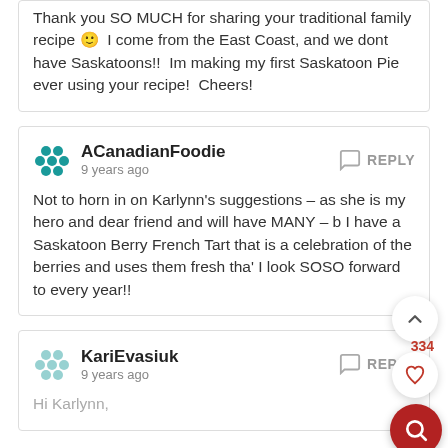Thank you SO MUCH for sharing your traditional family recipe 🙂  I come from the East Coast, and we dont have Saskatoons!!  Im making my first Saskatoon Pie ever using your recipe!  Cheers!
ACanadianFoodie · 9 years ago · REPLY
Not to horn in on Karlynn's suggestions – as she is my hero and dear friend and will have MANY – b... I have a Saskatoon Berry French Tart that is a celebration of the berries and uses them fresh that I look SOSO forward to every year!!
KariEvasiuk · 9 years ago · REPLY
Hi Karlynn,